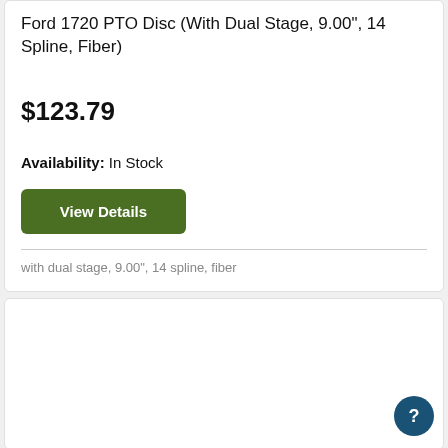Ford 1720 PTO Disc (With Dual Stage, 9.00", 14 Spline, Fiber)
$123.79
Availability: In Stock
View Details
with dual stage, 9.00", 14 spline, fiber
[Figure (photo): Reliance brand product box, white with blue logo, photographed at an angle]
[Figure (other): Back to top chevron up button, circular grey]
[Figure (other): Help/question mark circular dark blue button]